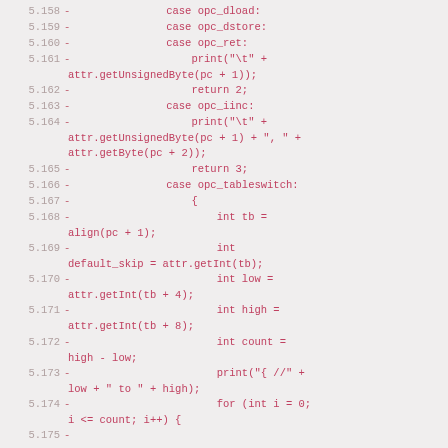[Figure (screenshot): Code diff screenshot showing lines 5.158 to 5.175 of a Java-like source file, with line numbers in gray, dash markers in pink/red, and code content in pink/red on a light gray background. The code shows case statements for opc_dload, opc_dstore, opc_ret, opc_iinc, opc_tableswitch, and related logic including variable declarations and a for loop.]